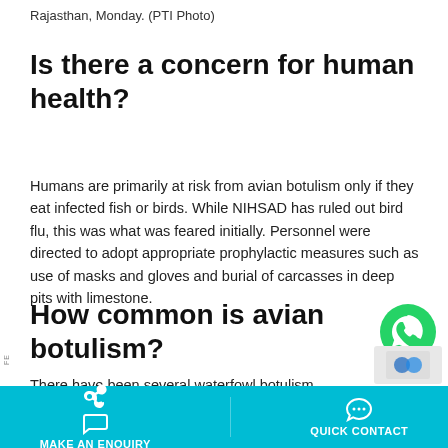Rajasthan, Monday. (PTI Photo)
Is there a concern for human health?
Humans are primarily at risk from avian botulism only if they eat infected fish or birds. While NIHSAD has ruled out bird flu, this was what was feared initially. Personnel were directed to adopt appropriate prophylactic measures such as use of masks and gloves and burial of carcasses in deep pits with limestone.
How common is avian botulism?
[Figure (illustration): WhatsApp contact button icon — green circle with white phone handset]
There have been several waterfowl botulism outbreaks. Between 1995 and 1997 in Canada, an estimated
MAKE AN ENQUIRY   QUICK CONTACT